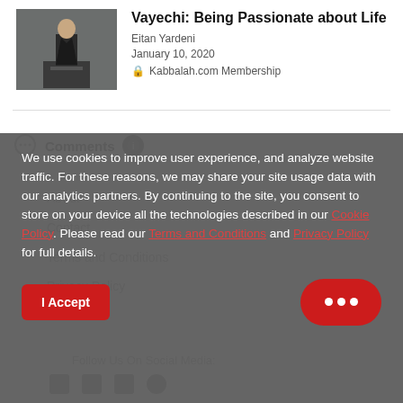[Figure (photo): Photo of a man in a suit standing at a podium or lectern in a room]
Vayechi: Being Passionate about Life
Eitan Yardeni
January 10, 2020
🔒 Kabbalah.com Membership
Comments
About
Contact
Terms and Conditions
Privacy Policy
We use cookies to improve user experience, and analyze website traffic. For these reasons, we may share your site usage data with our analytics partners. By continuing to the site, you consent to store on your device all the technologies described in our Cookie Policy. Please read our Terms and Conditions and Privacy Policy for full details.
I Accept
Follow Us On Social Media: